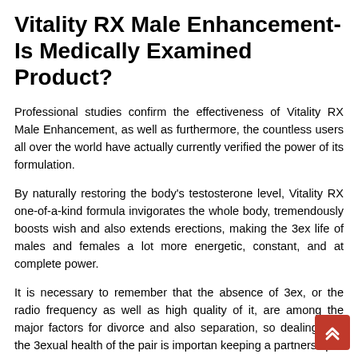Vitality RX Male Enhancement- Is Medically Examined Product?
Professional studies confirm the effectiveness of Vitality RX Male Enhancement, as well as furthermore, the countless users all over the world have actually currently verified the power of its formulation.
By naturally restoring the body's testosterone level, Vitality RX one-of-a-kind formula invigorates the whole body, tremendously boosts wish and also extends erections, making the 3ex life of males and females a lot more energetic, constant, and at complete power.
It is necessary to remember that the absence of 3ex, or the radio frequency as well as high quality of it, are among the major factors for divorce and also separation, so dealing with the 3exual health of the pair is important keeping a partnership.